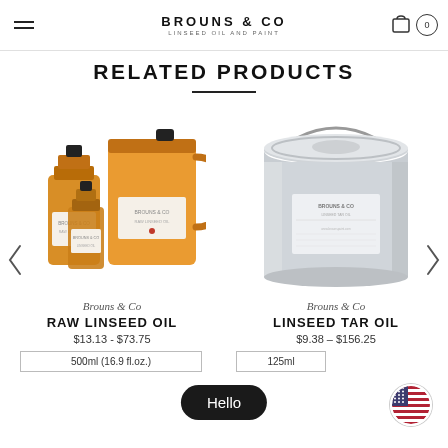BROUNS & CO — Linseed Oil And Paint
RELATED PRODUCTS
[Figure (photo): Three bottles of raw linseed oil from Brouns & Co: one large 5L jug and two smaller glass bottles.]
Brouns & Co
RAW LINSEED OIL
$13.13 - $73.75
500ml (16.9 fl.oz.)
[Figure (photo): Large silver metal tin/bucket of Linseed Tar Oil from Brouns & Co with a handle.]
Brouns & Co
LINSEED TAR OIL
$9.38 - $156.25
125ml